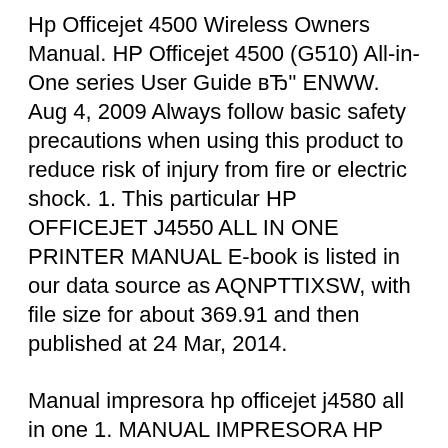Hp Officejet 4500 Wireless Owners Manual. HP Officejet 4500 (G510) All-in-One series User Guide вЂ" ENWW. Aug 4, 2009 Always follow basic safety precautions when using this product to reduce risk of injury from fire or electric shock. 1. This particular HP OFFICEJET J4550 ALL IN ONE PRINTER MANUAL E-book is listed in our data source as AQNPTTIXSW, with file size for about 369.91 and then published at 24 Mar, 2014.
Manual impresora hp officejet j4580 all in one 1. MANUAL IMPRESORA HP OFFICEJET J4580 ALL IN ONE File ID: -- File Type: PDF File Size: 416.8 Publish Date: 24 Mar, 2014 COPYRIGHT 2015,